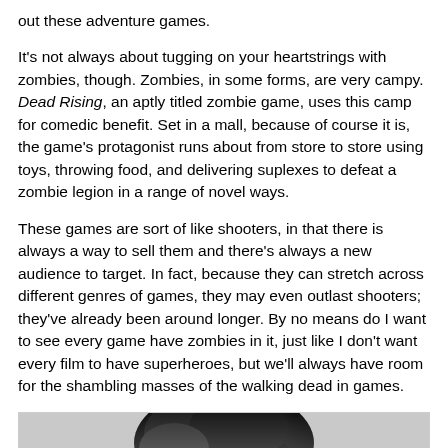out these adventure games.
It's not always about tugging on your heartstrings with zombies, though. Zombies, in some forms, are very campy. Dead Rising, an aptly titled zombie game, uses this camp for comedic benefit. Set in a mall, because of course it is, the game's protagonist runs about from store to store using toys, throwing food, and delivering suplexes to defeat a zombie legion in a range of novel ways.
These games are sort of like shooters, in that there is always a way to sell them and there's always a new audience to target. In fact, because they can stretch across different genres of games, they may even outlast shooters; they've already been around longer. By no means do I want to see every game have zombies in it, just like I don't want every film to have superheroes, but we'll always have room for the shambling masses of the walking dead in games.
[Figure (photo): Black and white photograph showing the top of a person's head with dark hair, partially cropped. The lower portion fades to a lighter gray/white background.]